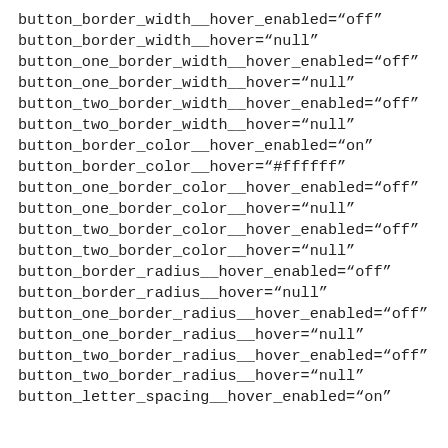button_border_width__hover_enabled="off"
button_border_width__hover="null"
button_one_border_width__hover_enabled="off"
button_one_border_width__hover="null"
button_two_border_width__hover_enabled="off"
button_two_border_width__hover="null"
button_border_color__hover_enabled="on"
button_border_color__hover="#ffffff"
button_one_border_color__hover_enabled="off"
button_one_border_color__hover="null"
button_two_border_color__hover_enabled="off"
button_two_border_color__hover="null"
button_border_radius__hover_enabled="off"
button_border_radius__hover="null"
button_one_border_radius__hover_enabled="off"
button_one_border_radius__hover="null"
button_two_border_radius__hover_enabled="off"
button_two_border_radius__hover="null"
button_letter_spacing__hover_enabled="on"